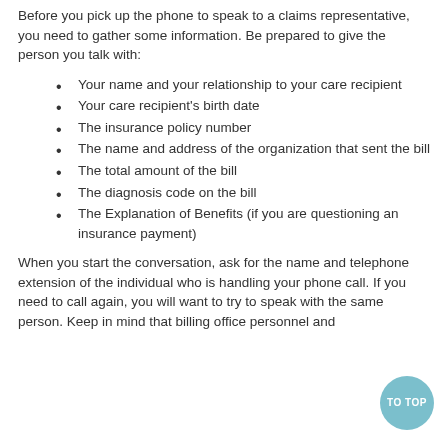Before you pick up the phone to speak to a claims representative, you need to gather some information. Be prepared to give the person you talk with:
Your name and your relationship to your care recipient
Your care recipient's birth date
The insurance policy number
The name and address of the organization that sent the bill
The total amount of the bill
The diagnosis code on the bill
The Explanation of Benefits (if you are questioning an insurance payment)
When you start the conversation, ask for the name and telephone extension of the individual who is handling your phone call. If you need to call again, you will want to try to speak with the same person. Keep in mind that billing office personnel and